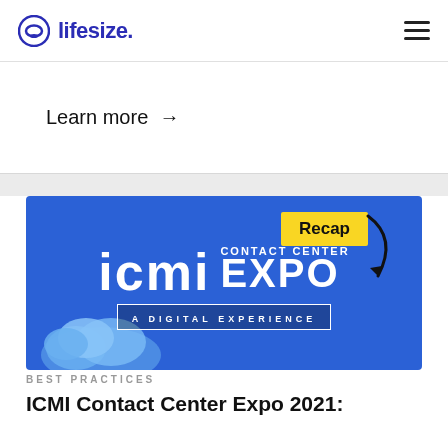lifesize. [navigation menu icon]
Learn more →
[Figure (illustration): ICMI Contact Center Expo – A Digital Experience banner with blue background, yellow Recap badge, arrow, and cloud graphic]
BEST PRACTICES
ICMI Contact Center Expo 2021: